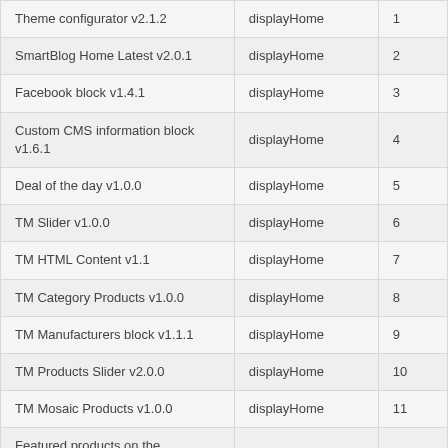| Theme configurator v2.1.2 | displayHome | 1 |
| SmartBlog Home Latest v2.0.1 | displayHome | 2 |
| Facebook block v1.4.1 | displayHome | 3 |
| Custom CMS information block v1.6.1 | displayHome | 4 |
| Deal of the day v1.0.0 | displayHome | 5 |
| TM Slider v1.0.0 | displayHome | 6 |
| TM HTML Content v1.1 | displayHome | 7 |
| TM Category Products v1.0.0 | displayHome | 8 |
| TM Manufacturers block v1.1.1 | displayHome | 9 |
| TM Products Slider v2.0.0 | displayHome | 10 |
| TM Mosaic Products v1.0.0 | displayHome | 11 |
| Featured products on the homepage v1.8.1 | displayHome | 12 |
| TM Google Map v1.1.5 | displayHome | 13 |